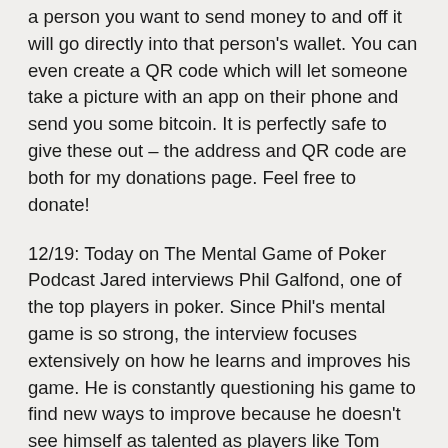a person you want to send money to and off it will go directly into that person's wallet. You can even create a QR code which will let someone take a picture with an app on their phone and send you some bitcoin. It is perfectly safe to give these out – the address and QR code are both for my donations page. Feel free to donate!
12/19: Today on The Mental Game of Poker Podcast Jared interviews Phil Galfond, one of the top players in poker. Since Phil's mental game is so strong, the interview focuses extensively on how he learns and improves his game. He is constantly questioning his game to find new ways to improve because he doesn't see himself as talented as players like Tom Dwan or Viktor Blom. [Visit Website] [Download MP3].
Yes, if somebody signing up on this website through your referral link, he or she becomes your referral. You will get paid 25% commission from every purchase they made.